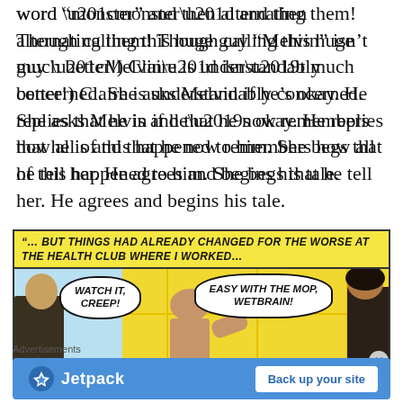word “monster” and then alternating them! Though calling this huge guy “Melvin” isn’t much better!) Claire is understandably concerned. She asks Melvin if he’s okay. He replies that he is and that he now remembers how all of this happened to him. She begs that he tell her. He agrees and begins his tale.
[Figure (illustration): Comic book panel showing a yellow caption bar reading '...BUT THINGS HAD ALREADY CHANGED FOR THE WORSE AT THE HEALTH CLUB WHERE I WORKED...' with comic art below showing muscular figures in a health club setting. Speech bubbles read 'WATCH IT, CREEP!' and 'EASY WITH THE MOP, WETBRAIN!']
Advertisements
[Figure (other): Jetpack advertisement banner with blue background, Jetpack logo and text, and 'Back up your site' button]